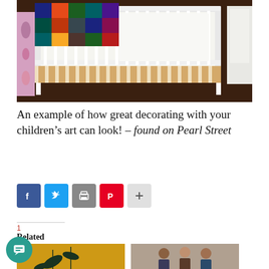[Figure (photo): A white baby crib with a colorful patchwork quilt draped over the railing. A striped gold and white bed skirt is visible beneath. On the left is a floral/paisley bedding pattern. On the right side a white upholstered chair is partially visible. The crib mattress has white bedding.]
An example of how great decorating with your children’s art can look! – found on Pearl Street
[Figure (infographic): Social sharing buttons: Facebook (blue), Twitter (light blue), Print (grey), Pinterest (red), More (light grey with plus sign)]
1 Related
[Figure (photo): Two thumbnail images of related articles partially visible at the bottom of the page.]